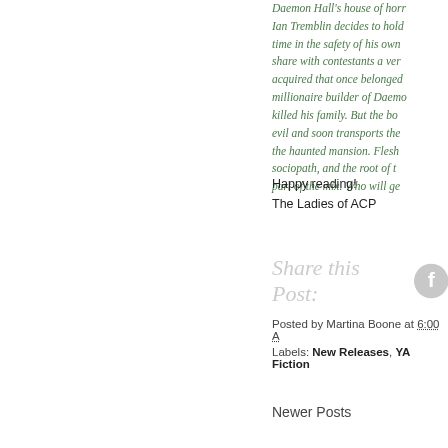Daemon Hall's house of horror... Ian Tremblin decides to hold time in the safety of his own share with contestants a very acquired that once belonged millionaire builder of Daemon killed his family. But the book evil and soon transports the g the haunted mansion. Flesh o sociopath, and the root of the part of the mix. Who will get
Happy reading!
The Ladies of ACP
Share this Post:
Posted by Martina Boone at 6:00 A
Labels: New Releases, YA Fiction
Newer Posts